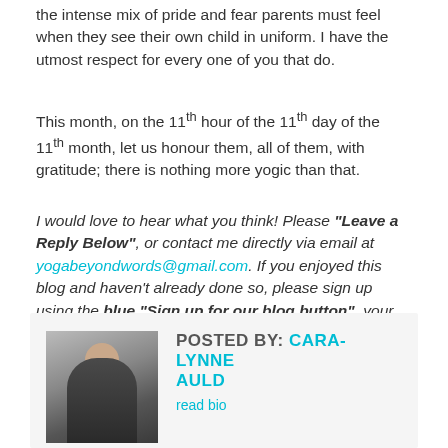the intense mix of pride and fear parents must feel when they see their own child in uniform.  I have the utmost respect for every one of you that do.
This month, on the 11th hour of the 11th day of the 11th month, let us honour them, all of them, with gratitude; there is nothing more yogic than that.
I would love to hear what you think! Please "Leave a Reply Below", or contact me directly via email at yogabeyondwords@gmail.com.  If you enjoyed this blog and haven't already done so, please sign up using the blue "Sign up for our blog button", your email will only be used to receive new blog posts.
[Figure (photo): Author bio section with photo of Cara-Lynne Auld, a woman with glasses in a dark top, with text 'POSTED BY: CARA-LYNNE AULD' and 'read bio']